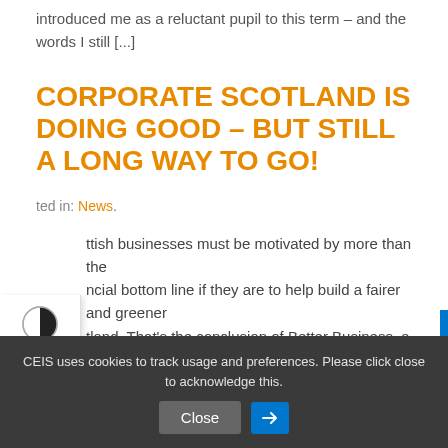introduced me as a reluctant pupil to this term – and the words I still [...]
CORPORATE SCOTLAND IS DOING GOOD – BUT STILL A LONG WAY TO GO!
Posted in: News.
Scottish businesses must be motivated by more than the financial bottom line if they are to help build a fairer and greener Scotland. That's the conclusion of Better Business, a ground-breaking study published today (Tuesday 19 January) into responsible business practices in Scotland. The study, the first of its kind in Scotland, was conducted by [...]
CEIS uses cookies to track usage and preferences. Please click close to acknowledge this.